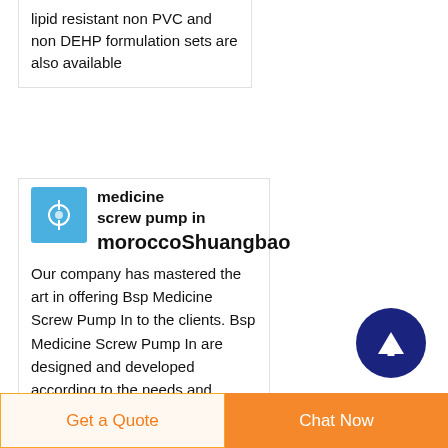lipid resistant non PVC and non DEHP formulation sets are also available
[Figure (photo): Small thumbnail image with blue background showing a medical screw pump device]
medicine screw pump in moroccoShuangbao
Our company has mastered the art in offering Bsp Medicine Screw Pump In to the clients. Bsp Medicine Screw Pump In are designed and developed according to the needs and requirements of customers. Offered range is catered to the men in diverse